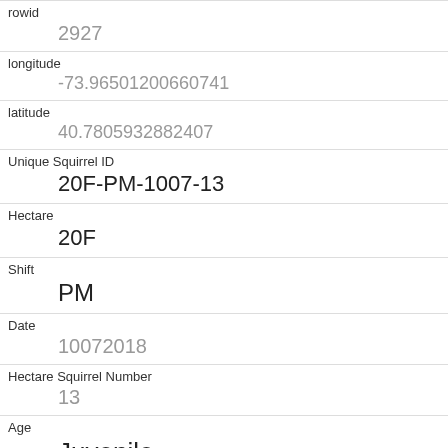| Field | Value |
| --- | --- |
| rowid | 2927 |
| longitude | -73.96501200660741 |
| latitude | 40.7805932882407 |
| Unique Squirrel ID | 20F-PM-1007-13 |
| Hectare | 20F |
| Shift | PM |
| Date | 10072018 |
| Hectare Squirrel Number | 13 |
| Age | Juvenile |
| Primary Fur Color | Cinnamon |